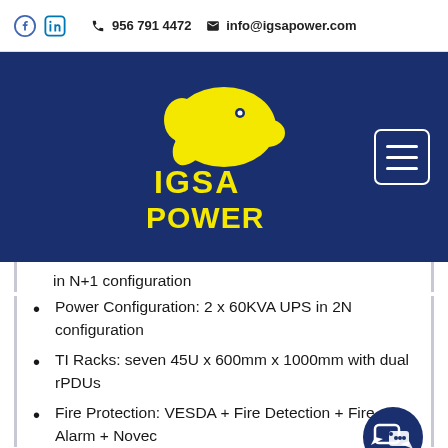956 791 4472   info@igsapower.com
[Figure (logo): IGSA Power logo: yellow elephant graphic above yellow text 'IGSA POWER' on dark navy blue background, with hamburger menu icon in top right]
in N+1 configuration
Power Configuration: 2 x 60KVA UPS in 2N configuration
TI Racks: seven 45U x 600mm x 1000mm with dual rPDUs
Fire Protection: VESDA + Fire Detection + Fire Alarm + Novec